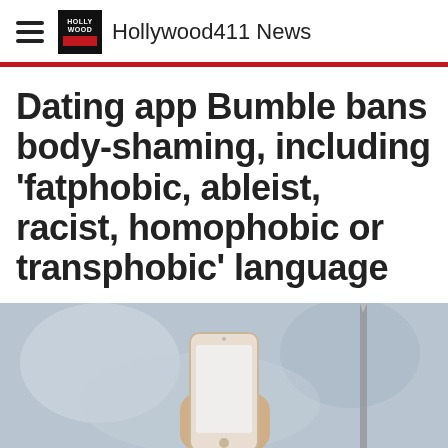Hollywood411 News
Dating app Bumble bans body-shaming, including 'fatphobic, ableist, racist, homophobic or transphobic' language
[Figure (photo): A hand holding a smartphone, blurred background]